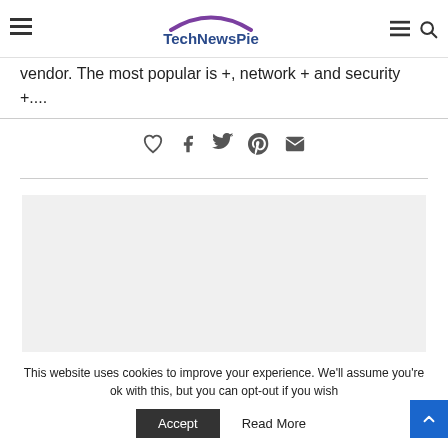TechNewsPie
vendor. The most popular is +, network + and security +....
[Figure (other): Social share icons: heart (like), Facebook, Twitter, Pinterest, email]
[Figure (other): Advertisement placeholder box (gray background)]
This website uses cookies to improve your experience. We'll assume you're ok with this, but you can opt-out if you wish
Accept   Read More